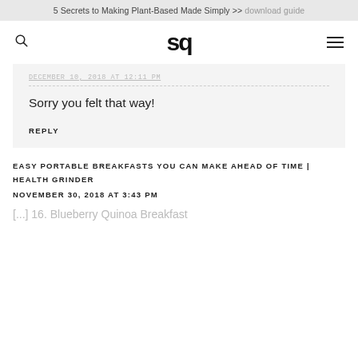5 Secrets to Making Plant-Based Made Simply >> download guide
sq
December 10, 2018 at 12:11 PM
Sorry you felt that way!
REPLY
EASY PORTABLE BREAKFASTS YOU CAN MAKE AHEAD OF TIME | HEALTH GRINDER
NOVEMBER 30, 2018 AT 3:43 PM
[...] 16. Blueberry Quinoa Breakfast